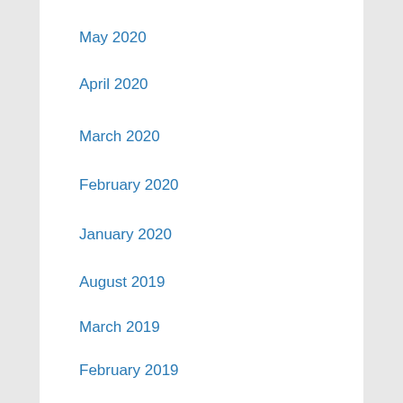May 2020
April 2020
March 2020
February 2020
January 2020
August 2019
March 2019
February 2019
December 2018
November 2018